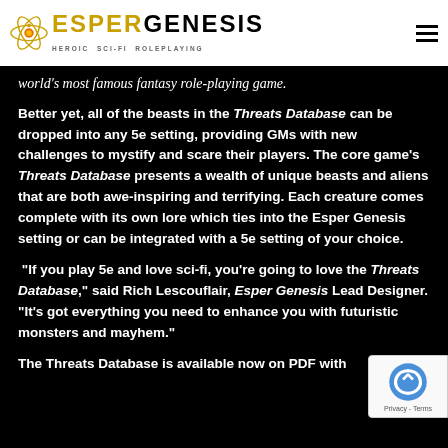ESPER GENESIS - HEROIC SCI-FI ROLEPLAYING
world's most famous fantasy role-playing game.
Better yet, all of the beasts in the Threats Database can be dropped into any 5e setting, providing GMs with new challenges to mystify and scare their players. The core game's Threats Database presents a wealth of unique beasts and aliens that are both awe-inspiring and terrifying. Each creature comes complete with its own lore which ties into the Esper Genesis setting or can be integrated with a 5e setting of your choice.
“If you play 5e and love sci-fi, you’re going to love the Threats Database,” said Rich Lescouflair, Esper Genesis Lead Designer. “It’s got everything you need to enhance you with futuristic monsters and mayhem.”
The Threats Database is available now on PDF with